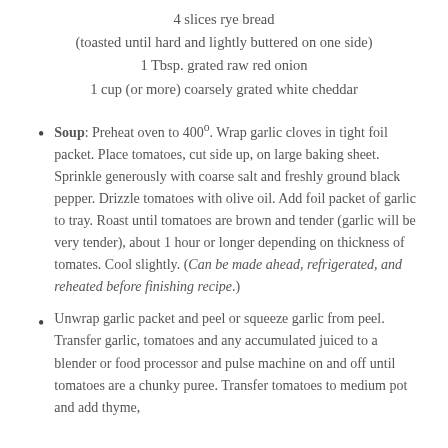4 slices rye bread
(toasted until hard and lightly buttered on one side)
1 Tbsp. grated raw red onion
1 cup (or more) coarsely grated white cheddar
Soup: Preheat oven to 400º. Wrap garlic cloves in tight foil packet. Place tomatoes, cut side up, on large baking sheet. Sprinkle generously with coarse salt and freshly ground black pepper. Drizzle tomatoes with olive oil. Add foil packet of garlic to tray. Roast until tomatoes are brown and tender (garlic will be very tender), about 1 hour or longer depending on thickness of tomates. Cool slightly. (Can be made ahead, refrigerated, and reheated before finishing recipe.)
Unwrap garlic packet and peel or squeeze garlic from peel. Transfer garlic, tomatoes and any accumulated juiced to a blender or food processor and pulse machine on and off until tomatoes are a chunky puree. Transfer tomatoes to medium pot and add thyme,